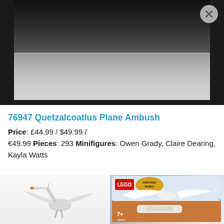[Figure (photo): Dark background photo showing LEGO set being played with, partially visible toys and a child's hands. Image fades from dark top to light grey/white at bottom.]
76947 Quetzalcoatlus Plane Ambush
Price: £44.99 / $49.99 / €49.99 Pieces: 293 Minifigures: Owen Grady, Claire Dearing, Kayla Watts
[Figure (photo): Left: Quetzalcoatlus dinosaur LEGO figure in white/grey against light background. Right: LEGO Jurassic World box art showing set 76947, rated 7+, featuring white pterosaur and plane.]